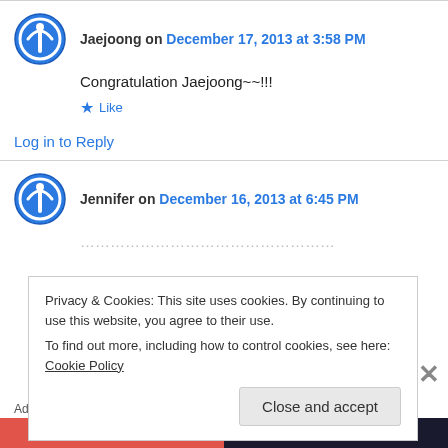Jaejoong on December 17, 2013 at 3:58 PM
Congratulation Jaejoong~~!!!
Like
Log in to Reply
Jennifer on December 16, 2013 at 6:45 PM
Privacy & Cookies: This site uses cookies. By continuing to use this website, you agree to their use.
To find out more, including how to control cookies, see here: Cookie Policy
Close and accept
Advertisements